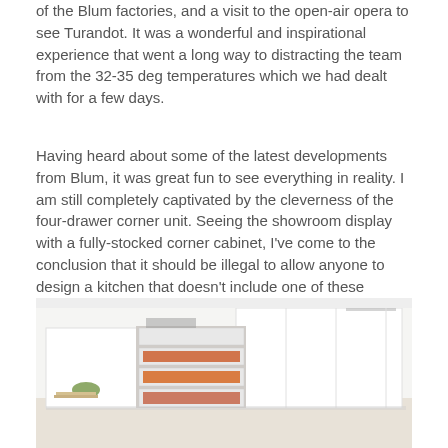of the Blum factories, and a visit to the open-air opera to see Turandot. It was a wonderful and inspirational experience that went a long way to distracting the team from the 32-35 deg temperatures which we had dealt with for a few days.
Having heard about some of the latest developments from Blum, it was great fun to see everything in reality. I am still completely captivated by the cleverness of the four-drawer corner unit. Seeing the showroom display with a fully-stocked corner cabinet, I've come to the conclusion that it should be illegal to allow anyone to design a kitchen that doesn't include one of these transformational fittings. See the details on the website here >>
[Figure (photo): A white modern kitchen with a corner unit showing four open drawers filled with vegetables and food items, demonstrating the Blum four-drawer corner cabinet system.]